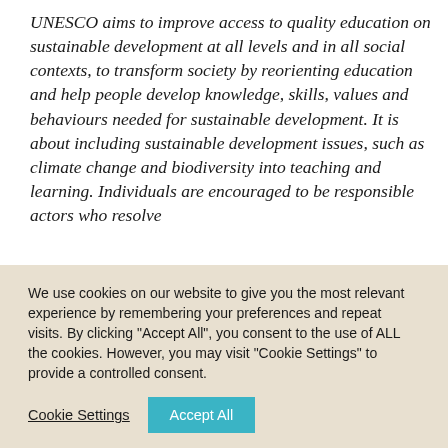UNESCO aims to improve access to quality education on sustainable development at all levels and in all social contexts, to transform society by reorienting education and help people develop knowledge, skills, values and behaviours needed for sustainable development. It is about including sustainable development issues, such as climate change and biodiversity into teaching and learning. Individuals are encouraged to be responsible actors who resolve...
We use cookies on our website to give you the most relevant experience by remembering your preferences and repeat visits. By clicking "Accept All", you consent to the use of ALL the cookies. However, you may visit "Cookie Settings" to provide a controlled consent.
Cookie Settings | Accept All